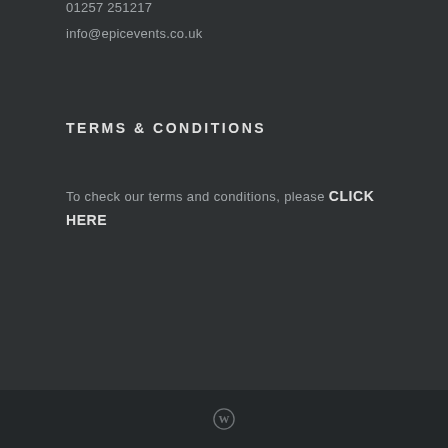01257 251217
info@epicevents.co.uk
TERMS & CONDITIONS
To check our terms and conditions, please CLICK HERE
WordPress logo icon